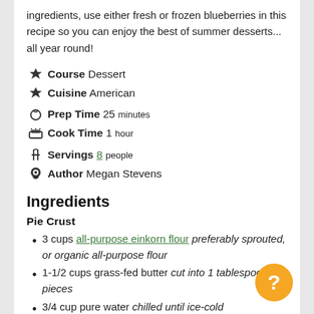ingredients, use either fresh or frozen blueberries in this recipe so you can enjoy the best of summer desserts... all year round!
Course Dessert
Cuisine American
Prep Time 25 minutes
Cook Time 1 hour
Servings 8 people
Author Megan Stevens
Ingredients
Pie Crust
3 cups all-purpose einkorn flour preferably sprouted, or organic all-purpose flour
1-1/2 cups grass-fed butter cut into 1 tablespoon pieces
3/4 cup pure water chilled until ice-cold